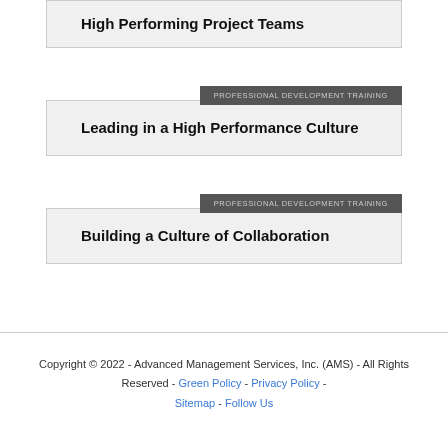High Performing Project Teams
Leading in a High Performance Culture
PROFESSIONAL DEVELOPMENT TRAINING
Building a Culture of Collaboration
PROFESSIONAL DEVELOPMENT TRAINING
Copyright © 2022 - Advanced Management Services, Inc. (AMS) - All Rights Reserved - Green Policy - Privacy Policy - Sitemap - Follow Us